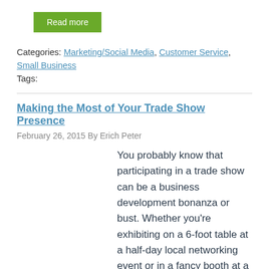Read more
Categories: Marketing/Social Media, Customer Service, Small Business
Tags:
Making the Most of Your Trade Show Presence
February 26, 2015 By Erich Peter
You probably know that participating in a trade show can be a business development bonanza or bust. Whether you’re exhibiting on a 6-foot table at a half-day local networking event or in a fancy booth at a multi-day expo and…